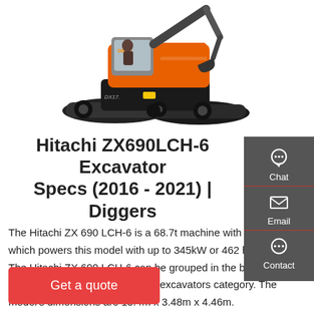[Figure (photo): Hitachi mini excavator in orange and black, tracked, viewed from front-right angle, operator cab visible]
Hitachi ZX690LCH-6 Excavator Specs (2016 - 2021) | Diggers
The Hitachi ZX 690 LCH-6 is a 68.7t machine with Isuzu engine which powers this model with up to 345kW or 462 horse power. The Hitachi ZX 690 LCH-6 can be grouped in the biggest machine segment in the crawler excavators category. The model's dimensions are 13.4m x 3.48m x 4.46m.
Get a quote